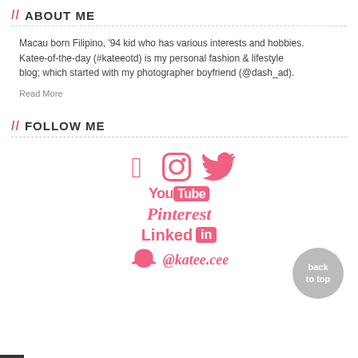// ABOUT ME
Macau born Filipino, '94 kid who has various interests and hobbies. Katee-of-the-day (#kateeotd) is my personal fashion & lifestyle blog; which started with my photographer boyfriend (@dash_ad).
Read More
// FOLLOW ME
[Figure (infographic): Social media icons (Facebook, Instagram, Twitter, YouTube, Pinterest, LinkedIn, Snapchat @katee.cee) rendered in pink/coral color, plus a grey circular 'back to top' button in the bottom right.]